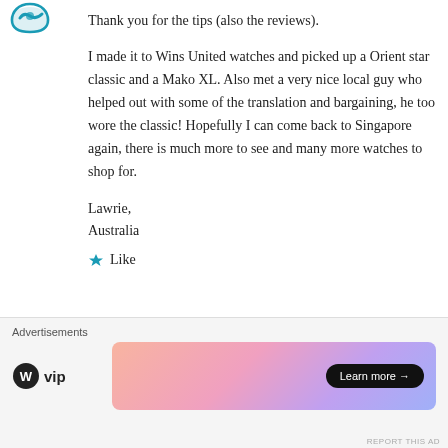[Figure (logo): Circular teal/blue logo icon at top left]
Thank you for the tips (also the reviews).
I made it to Wins United watches and picked up a Orient star classic and a Mako XL. Also met a very nice local guy who helped out with some of the translation and bargaining, he too wore the classic! Hopefully I can come back to Singapore again, there is much more to see and many more watches to shop for.
Lawrie,
Australia
★ Like
Advertisements
[Figure (logo): WordPress VIP logo and advertisement banner with Learn more button]